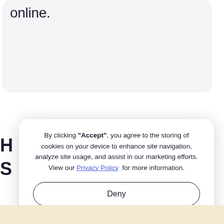online.
By clicking “Accept”, you agree to the storing of cookies on your device to enhance site navigation, analyze site usage, and assist in our marketing efforts. View our Privacy Policy for more information.
Deny
Accept